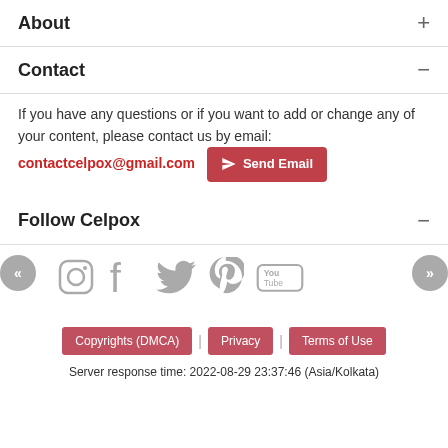About
Contact
If you have any questions or if you want to add or change any of your content, please contact us by email: contactcelpox@gmail.com
Follow Celpox
[Figure (other): Social media icons: Instagram, Facebook, Twitter, Pinterest, YouTube]
Copyrights (DMCA) | Privacy | Terms of Use
Server response time: 2022-08-29 23:37:46 (Asia/Kolkata)